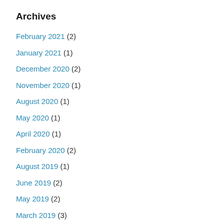Archives
February 2021 (2)
January 2021 (1)
December 2020 (2)
November 2020 (1)
August 2020 (1)
May 2020 (1)
April 2020 (1)
February 2020 (2)
August 2019 (1)
June 2019 (2)
May 2019 (2)
March 2019 (3)